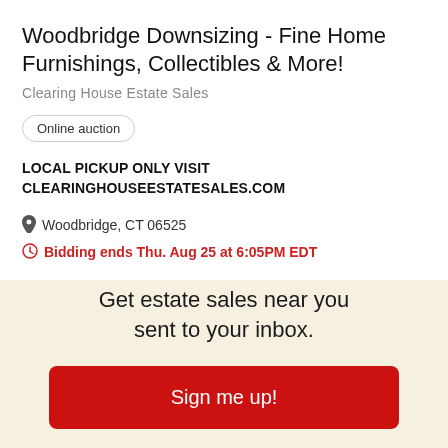Woodbridge Downsizing - Fine Home Furnishings, Collectibles & More!
Clearing House Estate Sales
Online auction
LOCAL PICKUP ONLY VISIT CLEARINGHOUSEESTATESALES.COM
Woodbridge, CT 06525
Bidding ends Thu. Aug 25 at 6:05PM EDT
Get estate sales near you sent to your inbox.
Sign me up!
No Thanks